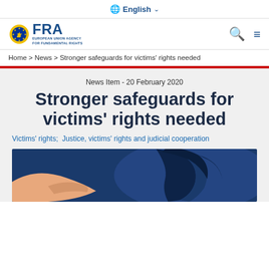English
[Figure (logo): FRA - European Union Agency for Fundamental Rights logo with EU star circle emblem]
Home > News > Stronger safeguards for victims' rights needed
News Item - 20 February 2020
Stronger safeguards for victims' rights needed
Victims' rights;  Justice, victims' rights and judicial cooperation
[Figure (illustration): Illustration showing hands reaching towards a person with hair blowing, navy blue and peach/skin tones colour scheme]